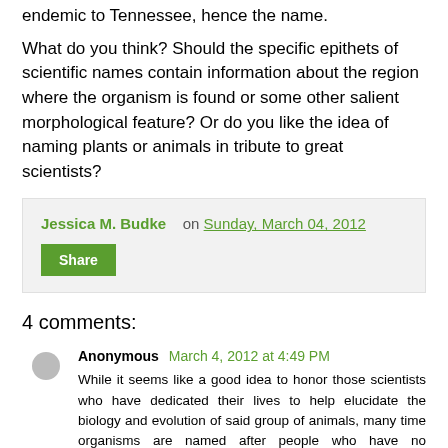endemic to Tennessee, hence the name.
What do you think? Should the specific epithets of scientific names contain information about the region where the organism is found or some other salient morphological feature? Or do you like the idea of naming plants or animals in tribute to great scientists?
Jessica M. Budke on Sunday, March 04, 2012
Share
4 comments:
Anonymous March 4, 2012 at 4:49 PM
While it seems like a good idea to honor those scientists who have dedicated their lives to help elucidate the biology and evolution of said group of animals, many time organisms are named after people who have no association at all with the species in question.